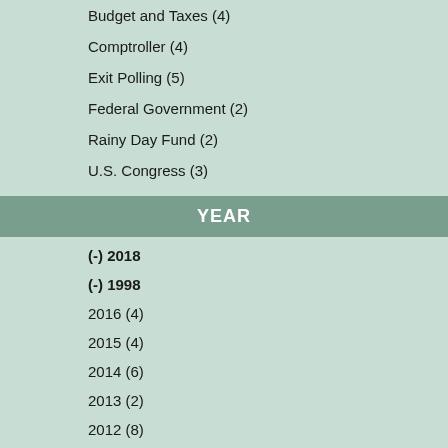Budget and Taxes (4)
Comptroller (4)
Exit Polling (5)
Federal Government (2)
Rainy Day Fund (2)
U.S. Congress (3)
YEAR
(-) 2018
(-) 1998
2016 (4)
2015 (4)
2014 (6)
2013 (2)
2012 (8)
2011 (2)
2010 (8)
2009 (7)
2008 (12)